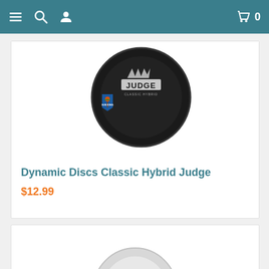Navigation bar with menu, search, profile icons and cart with 0 items
[Figure (photo): Black Dynamic Discs Classic Hybrid Judge disc golf putter with Judge logo and Sun King branding overlay]
Dynamic Discs Classic Hybrid Judge
$12.99
[Figure (photo): Partial view of a white/grey disc golf disc, bottom card cut off]